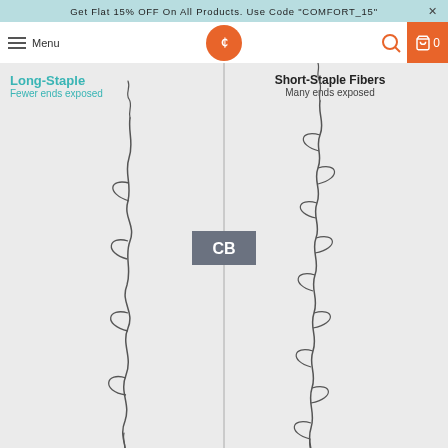Get Flat 15% OFF On All Products. Use Code "COMFORT_15"  ×
[Figure (illustration): Navigation bar with hamburger menu, Menu text, orange circular logo with CB monogram, orange search icon, and orange cart box showing 0]
[Figure (infographic): Comparison infographic showing Long-Staple fibers (fewer ends exposed) on the left vs Short-Staple Fibers (many ends exposed) on the right, separated by a vertical line with a CB watermark box. SVG illustrations of each fiber type shown below the labels.]